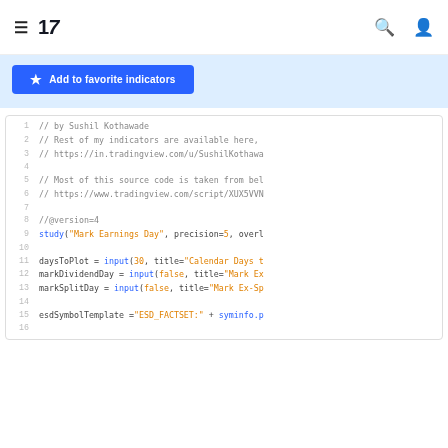TradingView navigation bar with hamburger menu, logo, search and user icons
[Figure (screenshot): Blue 'Add to favorite indicators' button on light blue background]
Code block showing Pine Script source code lines 1-16:
1: // by Sushil Kothawade
2: // Rest of my indicators are available here,
3: // https://in.tradingview.com/u/SushilKothawa
4: (blank)
5: // Most of this source code is taken from bel
6: // https://www.tradingview.com/script/XUX5VVN
7: (blank)
8: //@version=4
9: study("Mark Earnings Day", precision=5, overl
10: (blank)
11: daysToPlot = input(30, title="Calendar Days t
12: markDividendDay = input(false, title="Mark Ex
13: markSplitDay = input(false, title="Mark Ex-Sp
14: (blank)
15: esdSymbolTemplate ="ESD_FACTSET:" + syminfo.p
16: (blank line number shown)